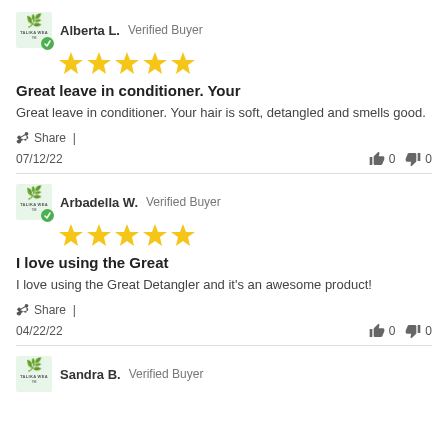Alberta L.  Verified Buyer
[Figure (other): 5-star rating with verified buyer badge and Talika logo]
Great leave in conditioner. Your
Great leave in conditioner. Your hair is soft, detangled and smells good.
Share |
07/12/22   👍 0  👎 0
Arbadella W.  Verified Buyer
[Figure (other): 5-star rating with verified buyer badge and Talika logo]
I love using the Great
I love using the Great Detangler and it's an awesome product!
Share |
04/22/22   👍 0  👎 0
Sandra B.  Verified Buyer